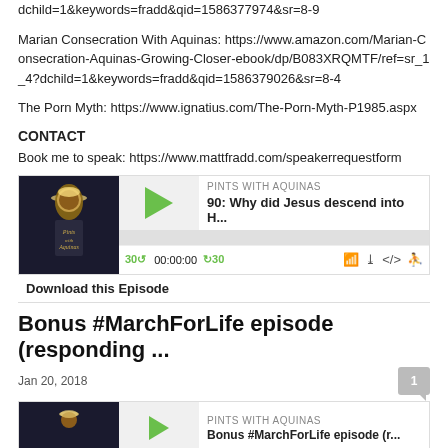dchild=1&keywords=fradd&qid=1586377974&sr=8-9
Marian Consecration With Aquinas: https://www.amazon.com/Marian-Consecration-Aquinas-Growing-Closer-ebook/dp/B083XRQMTF/ref=sr_1_4?dchild=1&keywords=fradd&qid=1586379026&sr=8-4
The Porn Myth: https://www.ignatius.com/The-Porn-Myth-P1985.aspx
CONTACT
Book me to speak: https://www.mattfradd.com/speakerrequestform
[Figure (screenshot): Podcast player for episode '90: Why did Jesus descend into H...' from Pints With Aquinas, showing play button, progress bar, and controls.]
Download this Episode
Bonus #MarchForLife episode (responding ...
Jan 20, 2018
[Figure (screenshot): Podcast player for 'Bonus #MarchForLife episode (r...' from Pints With Aquinas, partially visible.]